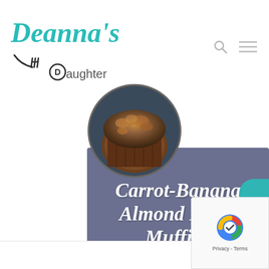[Figure (logo): Deanna's Daughter logo with teal cursive script and fork icon]
[Figure (photo): Circular photo of carrot-banana almond flour muffins on a wire rack]
Carrot-Banana Almond Flour Muffins
Author: Meagan
Total Time: 40 Minutes